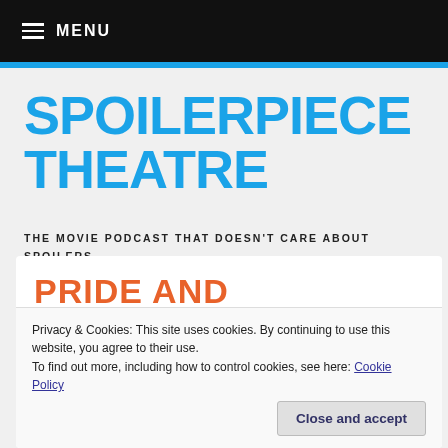MENU
SPOILERPIECE THEATRE
THE MOVIE PODCAST THAT DOESN'T CARE ABOUT SPOILERS
PRIDE AND PREJUDICE AND
#62
Privacy & Cookies: This site uses cookies. By continuing to use this website, you agree to their use.
To find out more, including how to control cookies, see here: Cookie Policy
Close and accept